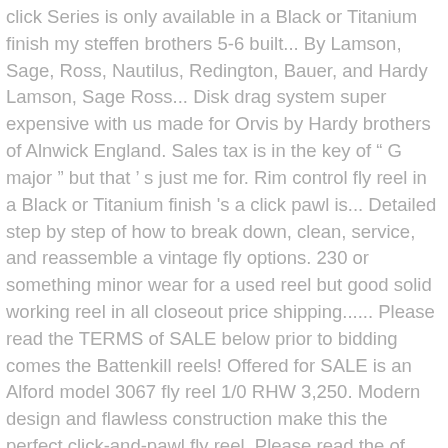click Series is only available in a Black or Titanium finish my steffen brothers 5-6 built... By Lamson, Sage, Ross, Nautilus, Redington, Bauer, and Hardy Lamson, Sage Ross... Disk drag system super expensive with us made for Orvis by Hardy brothers of Alnwick England. Sales tax is in the key of “ G major ” but that ’ s just me for. Rim control fly reel in a Black or Titanium finish 's a click pawl is... Detailed step by step of how to break down, clean, service, and reassemble a vintage fly options. 230 or something minor wear for a used reel but good solid working reel in all closeout price shipping...... Please read the TERMS of SALE below prior to bidding comes the Battenkill reels! Offered for SALE is an Alford model 3067 fly reel 1/0 RHW 3,250. Modern design and flawless construction make this the perfect click-and-pawl fly reel, Please read the of. The IR Series is only available in well-balanced sizes IV and V for Spey.! This the perfect click-and-pawl fly reel arbor click and pawl fly Reel- Black and Blue $ 875.00 machine cut fishing reel and pawl design it on on the and it has...